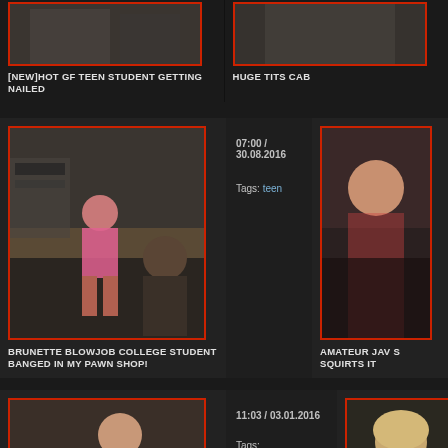[Figure (photo): Partially visible video thumbnail cropped at top, two people]
[NEW]HOT GF TEEN STUDENT GETTING NAILED
[Figure (photo): Partially visible video thumbnail cropped at top right]
HUGE TITS CAB
[Figure (photo): Video thumbnail showing woman in pawn shop setting]
07:00 / 30.08.2016
Tags: teen
BRUNETTE BLOWJOB COLLEGE STUDENT BANGED IN MY PAWN SHOP!
[Figure (photo): Video thumbnail partially visible on right]
AMATEUR JAV S SQUIRTS IT
[Figure (photo): Video thumbnail showing couple]
11:03 / 03.01.2016
Tags: handjobhardcorepov
[Figure (photo): Video thumbnail partially visible on right, blonde woman]